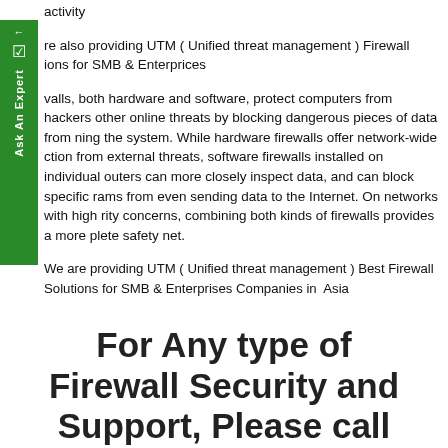activity
re also providing UTM ( Unified threat management ) Firewall ions for SMB & Enterprices
valls, both hardware and software, protect computers from hackers other online threats by blocking dangerous pieces of data from ning the system. While hardware firewalls offer network-wide ction from external threats, software firewalls installed on individual outers can more closely inspect data, and can block specific rams from even sending data to the Internet. On networks with high rity concerns, combining both kinds of firewalls provides a more plete safety net.
We are providing UTM ( Unified threat management ) Best Firewall Solutions for SMB & Enterprises Companies in Asia
For Any type of Firewall Security and Support, Please call